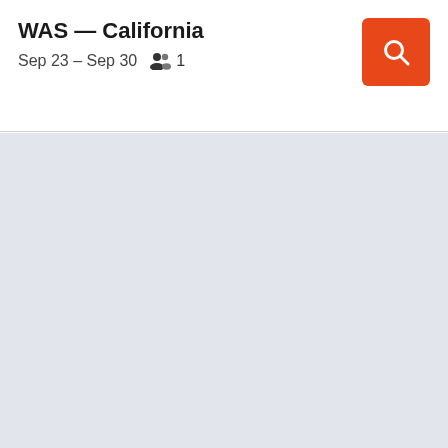WAS — California
Sep 23 – Sep 30   👥 1
[Figure (other): Orange search button with white magnifying glass icon]
[Figure (other): Light gray/blue empty content area below the header]